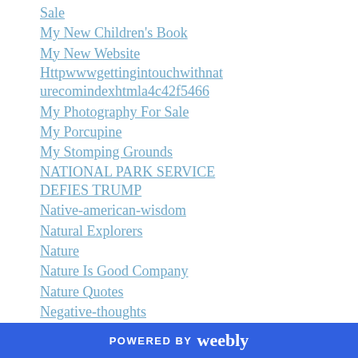Sale
My New Children's Book
My New Website
Httpwwwgettingintouchwithnat urecomindexhtmla4c42f5466
My Photography For Sale
My Porcupine
My Stomping Grounds
NATIONAL PARK SERVICE DEFIES TRUMP
Native-american-wisdom
Natural Explorers
Nature
Nature Is Good Company
Nature Quotes
Negative-thoughts
Nepal4fde565ee6
POWERED BY weebly